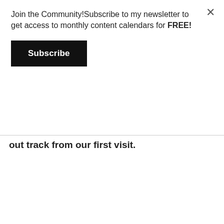Join the Community!Subscribe to my newsletter to get access to monthly content calendars for FREE!
Subscribe
out track from our first visit.
[Figure (screenshot): Google My Maps screenshot showing a route track labeled 'Barton Hills' overlaid on a map of Barton Hills Nature Reserve. The route is drawn in blue with a green start marker. The map header is dark teal with share and fullscreen icons.]